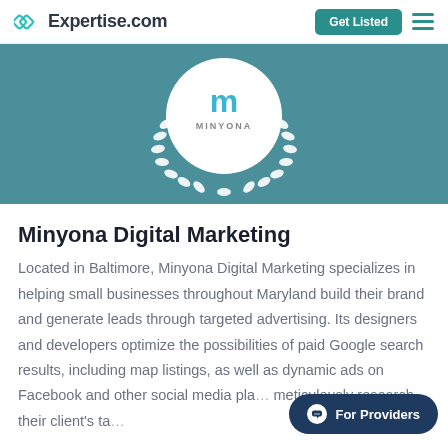Expertise.com | Get Listed
[Figure (logo): Minyona Digital Marketing badge with laurel wreath on teal/blue background. White circular badge with 'm' Minyona logo and white laurel wreath below.]
Minyona Digital Marketing
Located in Baltimore, Minyona Digital Marketing specializes in helping small businesses throughout Maryland build their brand and generate leads through targeted advertising. Its designers and developers optimize the possibilities of paid Google search results, including map listings, as well as dynamic ads on Facebook and other social media pla... meticulously research their client's ta...